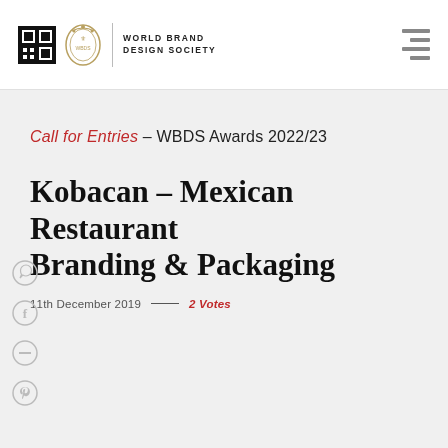[Figure (logo): World Brand Design Society logo with grid icon, heraldic crest, vertical divider, and text 'WORLD BRAND DESIGN SOCIETY'; hamburger menu bars on right]
Call for Entries – WBDS Awards 2022/23
Kobacan – Mexican Restaurant Branding & Packaging
11th December 2019  —  2 Votes
[Figure (illustration): Social sharing icons (WhatsApp, Facebook, link/minus, Pinterest) arranged vertically on left side]